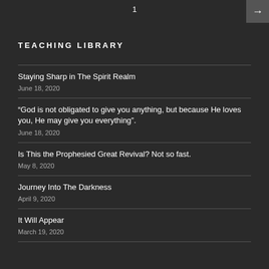1
TEACHING LIBRARY
Staying Sharp in The Spirit Realm
June 18, 2020
“God is not obligated to give you anything, but because He loves you, He may give you everything”.
June 18, 2020
Is This the Prophesied Great Revival? Not so fast.
May 8, 2020
Journey Into The Darkness
April 9, 2020
It Will Appear
March 19, 2020